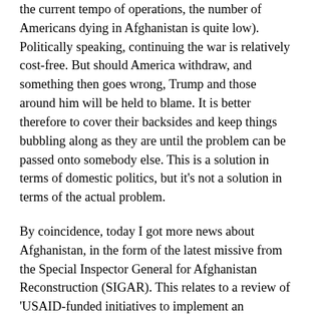the current tempo of operations, the number of Americans dying in Afghanistan is quite low). Politically speaking, continuing the war is relatively cost-free. But should America withdraw, and something then goes wrong, Trump and those around him will be held to blame. It is better therefore to cover their backsides and keep things bubbling along as they are until the problem can be passed onto somebody else. This is a solution in terms of domestic politics, but it's not a solution in terms of the actual problem.
By coincidence, today I got more news about Afghanistan, in the form of the latest missive from the Special Inspector General for Afghanistan Reconstruction (SIGAR). This relates to a review of 'USAID-funded initiatives to implement an electronic payment system for the collection of customs duties in Afghanistan.' Like most Western-backed initiatives in Afghanistan, this one (managed by the company Chemonics) hasn't gone according to plan. According to SIGAR, 'Chemonics and USAID significantly revised the revenue generation